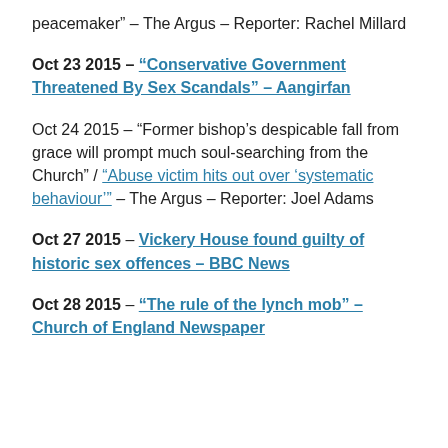peacemaker” – The Argus – Reporter: Rachel Millard
Oct 23 2015 – “Conservative Government Threatened By Sex Scandals” – Aangirfan
Oct 24 2015 – “Former bishop’s despicable fall from grace will prompt much soul-searching from the Church” / “Abuse victim hits out over ‘systematic behaviour’” – The Argus – Reporter: Joel Adams
Oct 27 2015 – Vickery House found guilty of historic sex offences – BBC News
Oct 28 2015 – “The rule of the lynch mob” – Church of England Newspaper